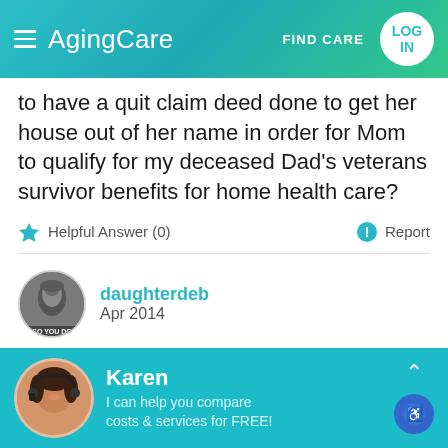AgingCare — FIND CARE — LOG IN
to have a quit claim deed done to get her house out of her name in order for Mom to qualify for my deceased Dad's veterans survivor benefits for home health care?
Helpful Answer (0)   Report
daughterdeb
Apr 2014
In answer to the posted question. Send the siblings an itemized statement of income and expenses
Karen
I can help you compare costs & services for FREE!